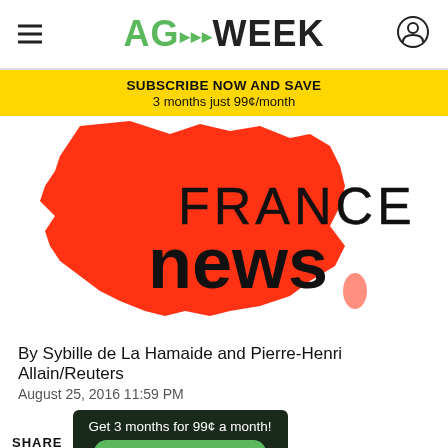AGWEEK
SUBSCRIBE NOW AND SAVE
3 months just 99¢/month
[Figure (illustration): Red silhouette map of France with 'FRANCE news' text overlay — 'FRANCE' in thin black capitals and 'news' in large bold black lowercase]
By Sybille de La Hamaide and Pierre-Henri Allain/Reuters
August 25, 2016 11:59 PM
SHARE
Get 3 months for 99¢ a month!
SUBSCRIBE NOW ›